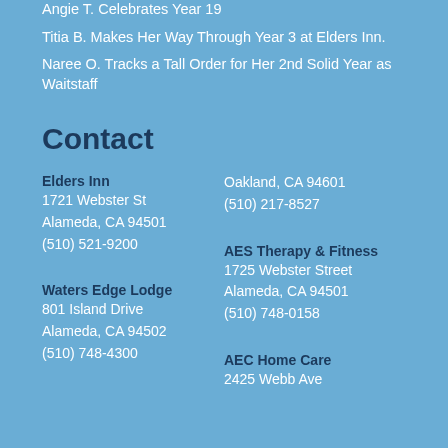Angie T. Celebrates Year 19
Titia B. Makes Her Way Through Year 3 at Elders Inn.
Naree O. Tracks a Tall Order for Her 2nd Solid Year as Waitstaff
Contact
Elders Inn
1721 Webster St
Alameda, CA 94501
(510) 521-9200
Waters Edge Lodge
801 Island Drive
Alameda, CA 94502
(510) 748-4300
Oakland, CA 94601
(510) 217-8527
AES Therapy & Fitness
1725 Webster Street
Alameda, CA 94501
(510) 748-0158
AEC Home Care
2425 Webb Ave